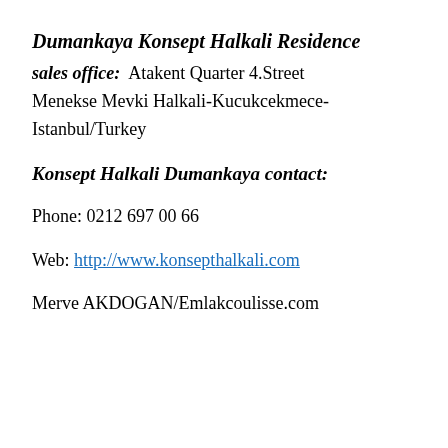Dumankaya Konsept Halkali Residence
sales office:  Atakent Quarter 4.Street Menekse Mevki Halkali-Kucukcekmece-Istanbul/Turkey
Konsept Halkali Dumankaya contact:
Phone: 0212 697 00 66
Web: http://www.konsepthalkali.com
Merve AKDOGAN/Emlakcoulisse.com